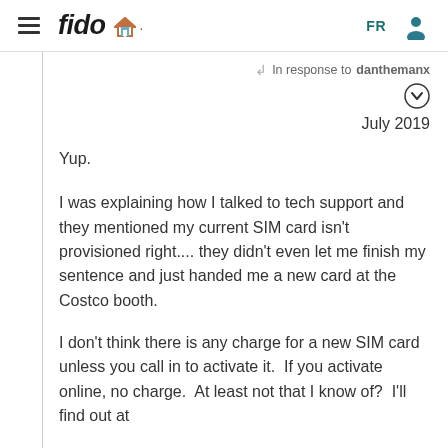fido [logo] | FR | user icon
In response to danthemanx
July 2019
Yup.
I was explaining how I talked to tech support and they mentioned my current SIM card isn't provisioned right.... they didn't even let me finish my sentence and just handed me a new card at the Costco booth.
I don't think there is any charge for a new SIM card unless you call in to activate it.  If you activate online, no charge.  At least not that I know of?  I'll find out at